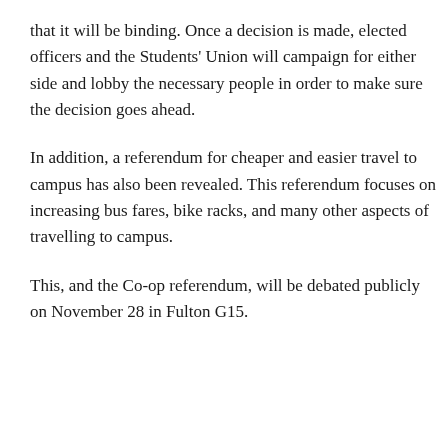that it will be binding. Once a decision is made, elected officers and the Students' Union will campaign for either side and lobby the necessary people in order to make sure the decision goes ahead.
In addition, a referendum for cheaper and easier travel to campus has also been revealed. This referendum focuses on increasing bus fares, bike racks, and many other aspects of travelling to campus.
This, and the Co-op referendum, will be debated publicly on November 28 in Fulton G15.